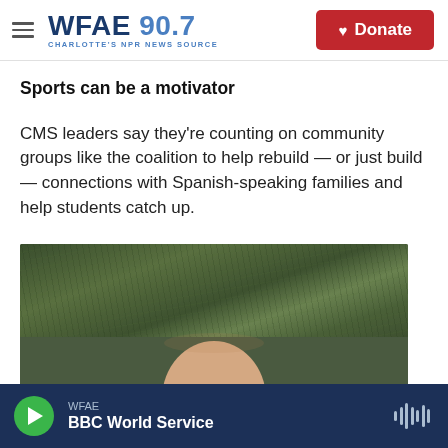WFAE 90.7 CHARLOTTE'S NPR NEWS SOURCE | Donate
Sports can be a motivator
CMS leaders say they’re counting on community groups like the coalition to help rebuild — or just build — connections with Spanish-speaking families and help students catch up.
[Figure (photo): Top portion of a person's bald head visible against a green grass background, photo cropped near the top of the frame]
WFAE BBC World Service